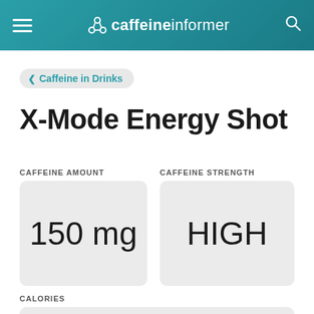caffeineinformer
< Caffeine in Drinks
X-Mode Energy Shot
CAFFEINE AMOUNT
150 mg
CAFFEINE STRENGTH
HIGH
CALORIES
0